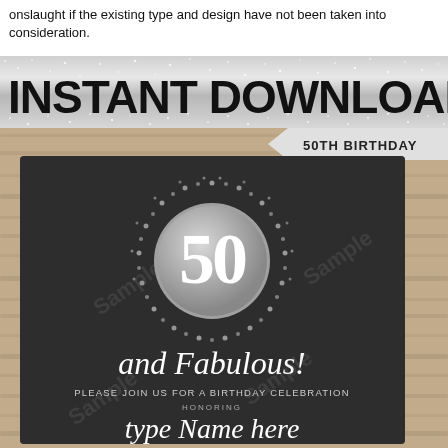onslaught if the existing type and design have not been taken into consideration.
[Figure (illustration): Product listing image showing an 'INSTANT DOWNLOAD' silver glitter banner at top, a '50TH BIRTHDAY' tag ribbon, and below a dark chalkboard-style birthday invitation card with sparkle circle containing '50', cursive text 'and Fabulous!', 'PLEASE JOIN US FOR A BIRTHDAY CELEBRATION', 'HONORING', and 'type Name here'. All set against a wood plank background. Watermarks reading 'Sample' visible.]